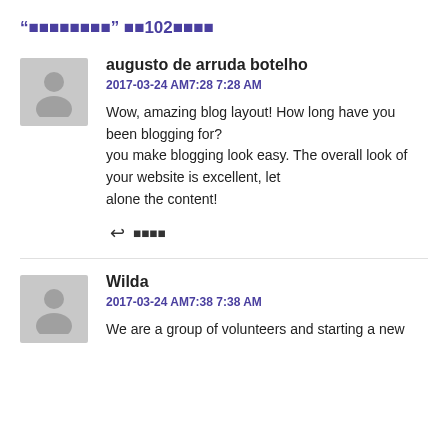“■■■■■■■■” ■■102■■■■
augusto de arruda botelho
2017-03-24 AM7:28 7:28 AM
Wow, amazing blog layout! How long have you been blogging for?
you make blogging look easy. The overall look of your website is excellent, let alone the content!
■■■■
Wilda
2017-03-24 AM7:38 7:38 AM
We are a group of volunteers and starting a new